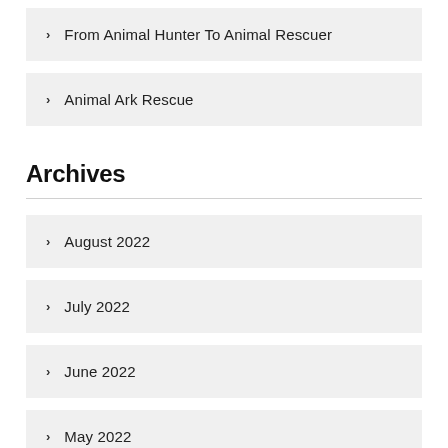From Animal Hunter To Animal Rescuer
Animal Ark Rescue
Archives
August 2022
July 2022
June 2022
May 2022